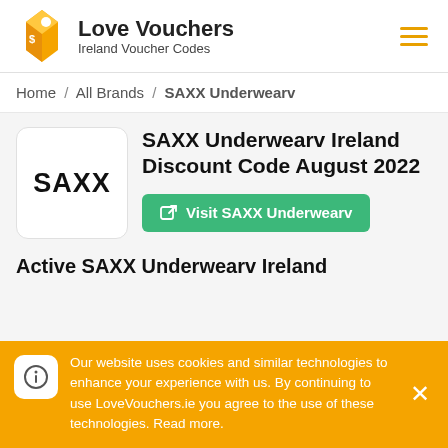Love Vouchers - Ireland Voucher Codes
Home / All Brands / SAXX Underwearv
SAXX Underwearv Ireland Discount Code August 2022
Visit SAXX Underwearv
Active SAXX Underwearv Ireland
Our website uses cookies and similar technologies to enhance your experience with us. By continuing to use LoveVouchers.ie you agree to the use of these technologies. Read more.